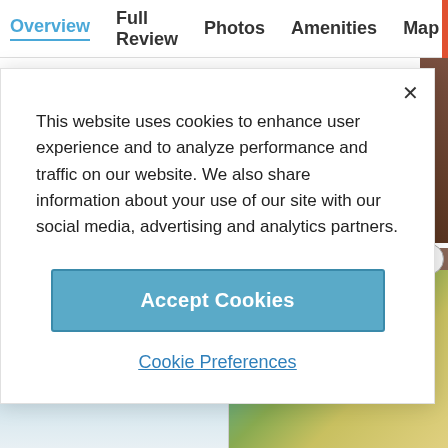Overview  Full Review  Photos  Amenities  Map
This website uses cookies to enhance user experience and to analyze performance and traffic on our website. We also share information about your use of our site with our social media, advertising and analytics partners.
Accept Cookies
Cookie Preferences
[Figure (photo): Bottom banner with beach and pool images, advertisement label]
ADVERTISEMENT
Beach
Pool